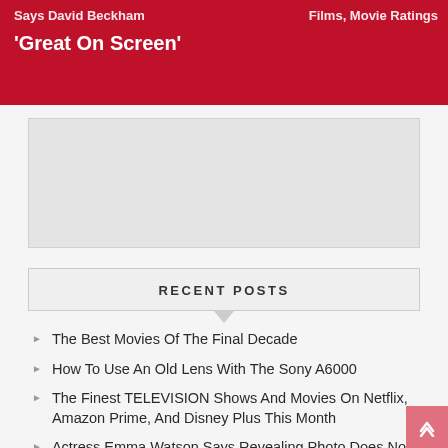'Great On Screen'
RECENT POSTS
The Best Movies Of The Final Decade
How To Use An Old Lens With The Sony A6000
The Finest TELEVISION Shows And Movies On Netflix, Amazon Prime, And Disney Plus This Month
Actress Emma Watson Says Revealing Photo Does Not Undermine Feminism